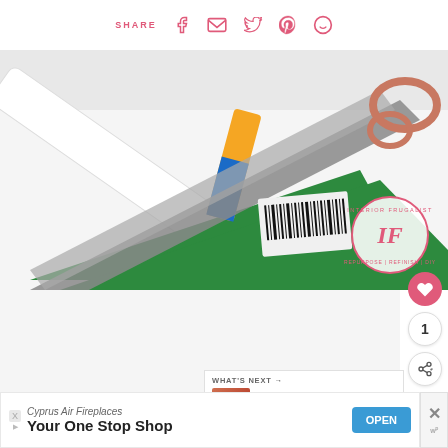SHARE [facebook] [email] [twitter] [pinterest] [whatsapp]
[Figure (photo): Craft supplies on white surface: green foam sheets, orange glue sticks, scissors with copper handle, white tube, barcode label, with Interior Frugalista stamp watermark in bottom right]
1
WHAT'S NEXT → How To Make Patriotic Min...
Cyprus Air Fireplaces Your One Stop Shop OPEN